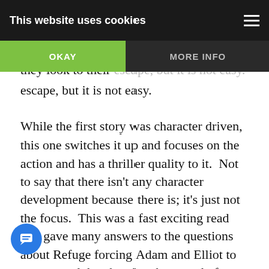This website uses cookies
they look to their escape, but it is not easy.
While the first story was character driven, this one switches it up and focuses on the action and has a thriller quality to it.  Not to say that there isn't any character development because there is; it's just not the focus.  This was a fast exciting read that gave many answers to the questions about Refuge forcing Adam and Elliot to step up and do what they have to do for their own safety and for what is right.  This installment in the series introduces some new characters and brings back some returning ones.  Each character may be more or less than they seem and that was what made the story exciting too.  Elliot gets a bit angsty at times, but seeing what he's